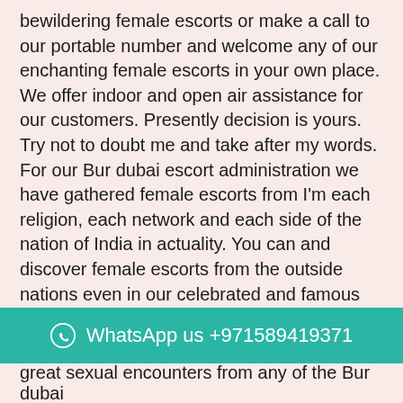bewildering female escorts or make a call to our portable number and welcome any of our enchanting female escorts in your own place. We offer indoor and open air assistance for our customers. Presently decision is yours. Try not to doubt me and take after my words. For our Bur dubai escort administration we have gathered female escorts from I'm each religion, each network and each side of the nation of India in actuality. You can and discover female escorts from the outside nations even in our celebrated and famous Bur dubai escort service yet in an exceptionally low rate – I affirm that. It doesn't make a difference for us that who are you or what is your age however you are one of the regarded customers of our Bur dubai accompanies administration. Every single female is portions of our Bur dubai escort administration will treat you like a lord. Bramble dubai female escort from our Bur dubai escort administration will give you a definitive delight of
WhatsApp us +971589419371
great sexual encounters from any of the Bur dubai